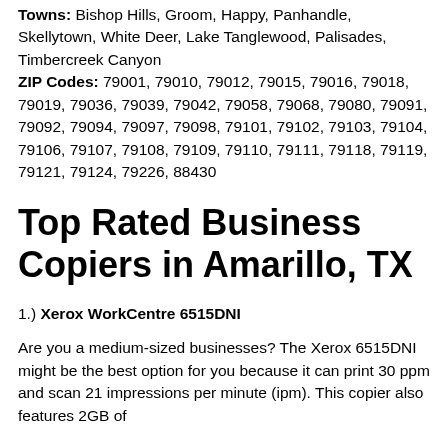Towns: Bishop Hills, Groom, Happy, Panhandle, Skellytown, White Deer, Lake Tanglewood, Palisades, Timbercreek Canyon
ZIP Codes: 79001, 79010, 79012, 79015, 79016, 79018, 79019, 79036, 79039, 79042, 79058, 79068, 79080, 79091, 79092, 79094, 79097, 79098, 79101, 79102, 79103, 79104, 79106, 79107, 79108, 79109, 79110, 79111, 79118, 79119, 79121, 79124, 79226, 88430
Top Rated Business Copiers in Amarillo, TX
1.) Xerox WorkCentre 6515DNI
Are you a medium-sized businesses? The Xerox 6515DNI might be the best option for you because it can print 30 ppm and scan 21 impressions per minute (ipm). This copier also features 2GB of